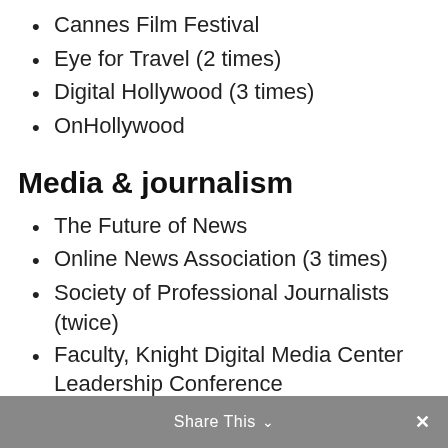Cannes Film Festival
Eye for Travel (2 times)
Digital Hollywood (3 times)
OnHollywood
Media & journalism
The Future of News
Online News Association (3 times)
Society of Professional Journalists (twice)
Faculty, Knight Digital Media Center Leadership Conference
Investigative Reporters & Editors
CAJ National Writers' Symposium
Share This  ∨  ✕